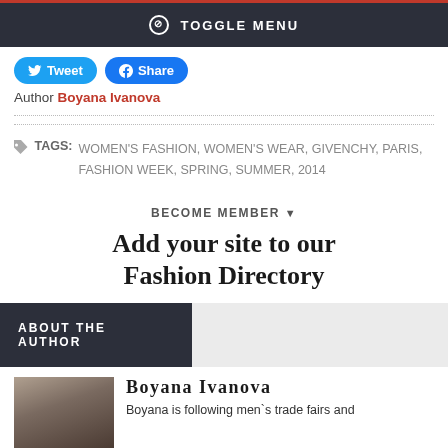TOGGLE MENU
Tweet  Share  Author Boyana Ivanova
TAGS: WOMEN'S FASHION, WOMEN'S WEAR, GIVENCHY, PARIS, FASHION WEEK, SPRING, SUMMER, 2014
BECOME MEMBER
Add your site to our Fashion Directory
ABOUT THE AUTHOR
Boyana Ivanova
Boyana is following men`s trade fairs and